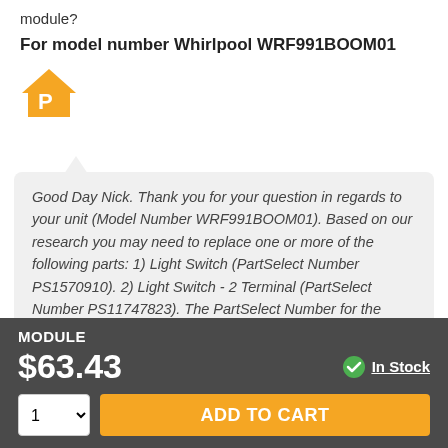module?
For model number Whirlpool WRF991BOOM01
[Figure (logo): Orange house-shaped PartSelect logo icon with 'P' letter inside]
Good Day Nick. Thank you for your question in regards to your unit (Model Number WRF991BOOM01). Based on our research you may need to replace one or more of the following parts: 1) Light Switch (PartSelect Number PS1570910). 2) Light Switch - 2 Terminal (PartSelect Number PS11747823). The PartSelect Number for the Module for your unit is PS1204758E. However this is the PartSelect Number...
MODULE
$63.43
In Stock
1
ADD TO CART